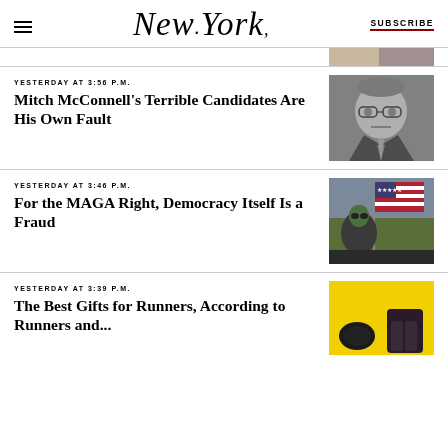NEW YORK | SUBSCRIBE
[Figure (photo): Partial thumbnail visible at top right - cropped photo]
YESTERDAY AT 3:56 P.M.
Mitch McConnell’s Terrible Candidates Are His Own Fault
[Figure (photo): Black and white photo of Mitch McConnell with glasses, serious expression]
YESTERDAY AT 3:46 P.M.
For the MAGA Right, Democracy Itself Is a Fraud
[Figure (photo): Color photo of person waving American flag at a rally]
YESTERDAY AT 3:39 P.M.
The Best Gifts for Runners, According to Runners and...
[Figure (photo): Yellow background with dark running accessories]